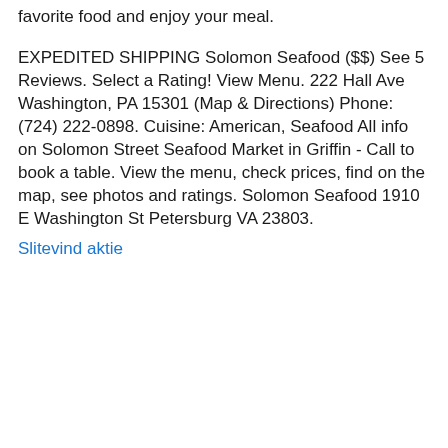favorite food and enjoy your meal.
EXPEDITED SHIPPING Solomon Seafood ($$) See 5 Reviews. Select a Rating! View Menu. 222 Hall Ave Washington, PA 15301 (Map & Directions) Phone: (724) 222-0898. Cuisine: American, Seafood All info on Solomon Street Seafood Market in Griffin - Call to book a table. View the menu, check prices, find on the map, see photos and ratings. Solomon Seafood 1910 E Washington St Petersburg VA 23803.
Slitevind aktie